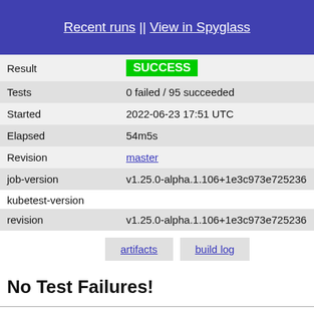Recent runs || View in Spyglass
| Result | SUCCESS |
| Tests | 0 failed / 95 succeeded |
| Started | 2022-06-23 17:51 UTC |
| Elapsed | 54m5s |
| Revision | master |
| job-version | v1.25.0-alpha.1.106+1e3c973e725236 |
| kubetest-version |  |
| revision | v1.25.0-alpha.1.106+1e3c973e725236 |
artifacts   build log
No Test Failures!
Show 95 Passed Tests